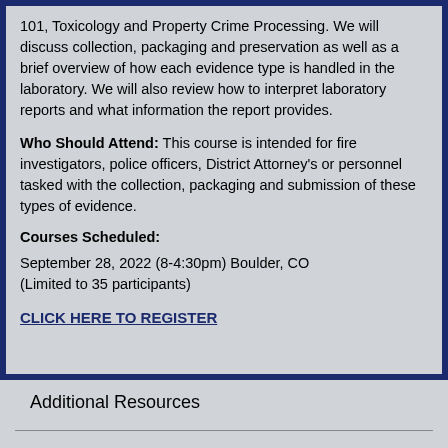101, Toxicology and Property Crime Processing. We will discuss collection, packaging and preservation as well as a brief overview of how each evidence type is handled in the laboratory. We will also review how to interpret laboratory reports and what information the report provides.
Who Should Attend: This course is intended for fire investigators, police officers, District Attorney's or personnel tasked with the collection, packaging and submission of these types of evidence.
Courses Scheduled:
September 28, 2022 (8-4:30pm) Boulder, CO (Limited to 35 participants)
CLICK HERE TO REGISTER
Additional Resources